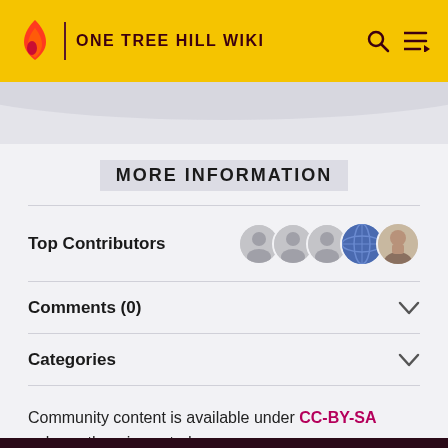ONE TREE HILL WIKI
MORE INFORMATION
Top Contributors
Comments (0)
Categories
Community content is available under CC-BY-SA unless otherwise noted.